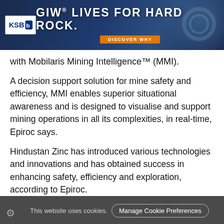[Figure (illustration): GIW advertisement banner: 'GIW® LIVES FOR HARD ROCK.' with KSB logo and 'DISCOVER WHY' button on dark blue background]
with Mobilaris Mining Intelligence™ (MMI).
A decision support solution for mine safety and efficiency, MMI enables superior situational awareness and is designed to visualise and support mining operations in all its complexities, in real-time, Epiroc says.
Hindustan Zinc has introduced various technologies and innovations and has obtained success in enhancing safety, efficiency and exploration, according to Epiroc.
Back in 2017, the miner looked to automate many of its operations, acquiring Epiroc drill rigs, LHDs, haul trucks
This website uses cookies. Manage Cookie Preferences